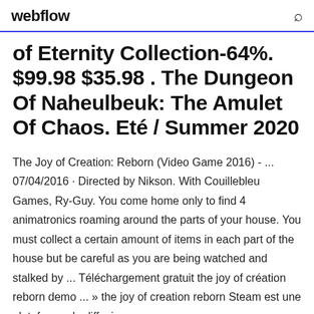webflow
of Eternity Collection-64%. $99.98 $35.98 . The Dungeon Of Naheulbeuk: The Amulet Of Chaos. Eté / Summer 2020
The Joy of Creation: Reborn (Video Game 2016) - ... 07/04/2016 · Directed by Nikson. With Couillebleu Games, Ry-Guy. You come home only to find 4 animatronics roaming around the parts of your house. You must collect a certain amount of items in each part of the house but be careful as you are being watched and stalked by ... Téléchargement gratuit the joy of création reborn demo ... » the joy of creation reborn Steam est une plateforme de diffusion